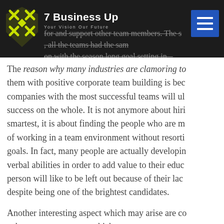7 Business Up — Your Vision Our Future
for and support other team members. The season long goal setting in... all the teams had the same...
The reason why many industries are clamoring to them with positive corporate team building is because companies with the most successful teams will ultimately success on the whole. It is not anymore about hiring the smartest, it is about finding the people who are most capable of working in a team environment without resorting to goals. In fact, many people are actually developing their verbal abilities in order to add value to their education. No person will like to be left out because of their lack of skills, despite being one of the brightest candidates.
Another interesting aspect which may arise are competing cyberspace contractors which may go toe to toe with opposing clients. Cyber security companies have gone offensive and be the ones doing the hacking to other individuals. To go into a cyber war, there will be innocent people irrelevant to conflicts at hand...